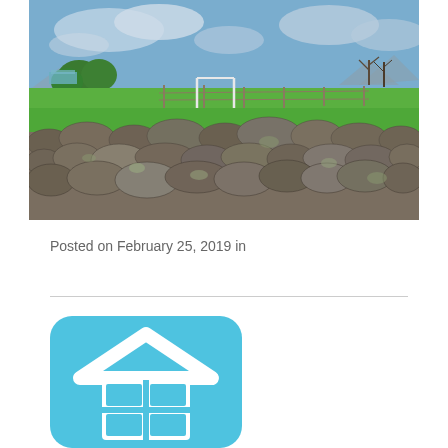[Figure (photo): Landscape photo showing a stone wall in the foreground made of large rounded volcanic rocks, with a green grassy field behind it, a fence line, trees, and mountains under a partly cloudy blue sky in the background.]
Posted on February 25, 2019 in
[Figure (logo): Square rounded-corner logo in sky blue color featuring a white house/roof chevron shape on top and a white grid/window icon below it, resembling a home listing or real estate application icon.]